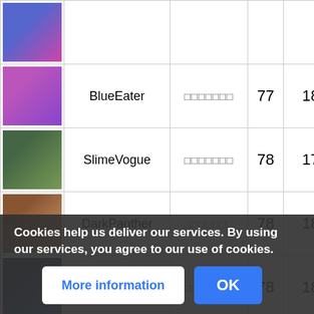| Image | Name | Symbol | Level | Points |
| --- | --- | --- | --- | --- |
| [image] |  |  |  |  |
| [image] | BlueEater | □□□□□□□ | 77 | 1881 |
| [image] | SlimeVogue | □□□□□□□ | 78 | 1712 |
| [image] | DarkPanther | □□□□□□□ | 78 | 1824 |
| [image] | RedEater | □□□□□□□ | 78 | 1881 |
| [image] | Gigantes | □□□□ | 78 | 2022 |
| [image] | Co... | ... | 78 | 2025 |
Cookies help us deliver our services. By using our services, you agree to our use of cookies.